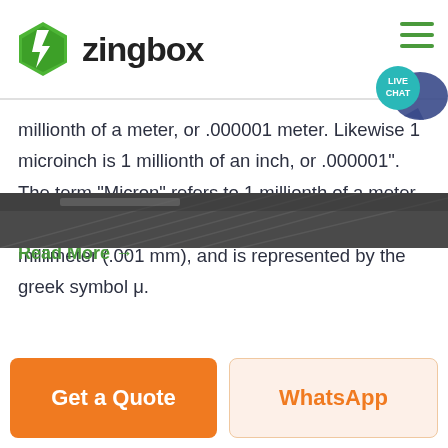[Figure (logo): Zingbox logo: green hexagon with lightning bolt icon, followed by bold text 'zingbox']
millionth of a meter, or .000001 meter. Likewise 1 microinch is 1 millionth of an inch, or .000001". The term "Micron" refers to 1 millionth of a meter, which is also equivalent to 1 thousanth of a millimeter (.001 mm), and is represented by the greek symbol μ.
Read More →
[Figure (photo): Partial photo of an industrial or warehouse interior, dark toned]
Get a Quote
WhatsApp